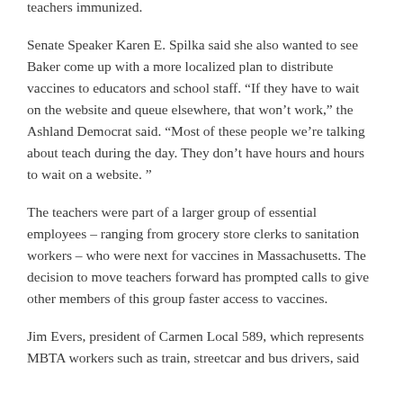teachers immunized.
Senate Speaker Karen E. Spilka said she also wanted to see Baker come up with a more localized plan to distribute vaccines to educators and school staff. “If they have to wait on the website and queue elsewhere, that won’t work,” the Ashland Democrat said. “Most of these people we’re talking about teach during the day. They don’t have hours and hours to wait on a website.”
The teachers were part of a larger group of essential employees – ranging from grocery store clerks to sanitation workers – who were next for vaccines in Massachusetts. The decision to move teachers forward has prompted calls to give other members of this group faster access to vaccines.
Jim Evers, president of Carmen Local 589, which represents MBTA workers such as train, streetcar and bus drivers, said